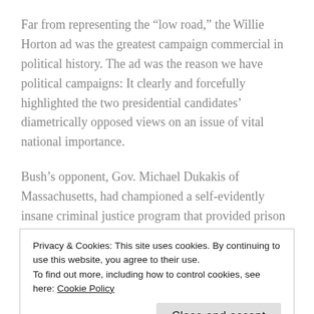Far from representing the “low road,” the Willie Horton ad was the greatest campaign commercial in political history. The ad was the reason we have political campaigns: It clearly and forcefully highlighted the two presidential candidates’ diametrically opposed views on an issue of vital national importance.
Bush’s opponent, Gov. Michael Dukakis of Massachusetts, had championed a self-evidently insane criminal justice program that provided prison furloughs to first-degree murderers.
One of the murderers let out under Dukakis’ program was
Privacy & Cookies: This site uses cookies. By continuing to use this website, you agree to their use.
To find out more, including how to control cookies, see here: Cookie Policy
boy’s corpse in a garbage can. That wasn’t Horton’s first